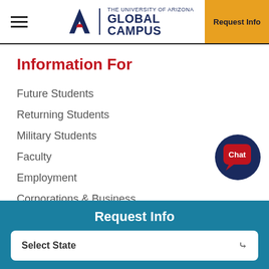THE UNIVERSITY OF ARIZONA GLOBAL CAMPUS | Request Info
Information For
Future Students
Returning Students
Military Students
Faculty
Employment
Corporations & Business
[Figure (other): Chat button widget — circular dark navy button with red speech bubble and Chat label]
Institutional Data and Research
Request Info
Select State